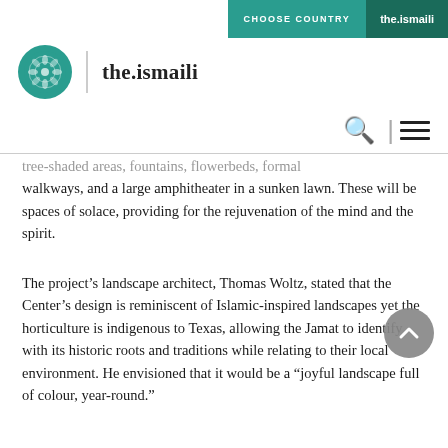CHOOSE COUNTRY | the.ismaili
[Figure (logo): the.ismaili logo: circular teal emblem with floral pattern and divider, with text 'the.ismaili']
...tree-shaded areas, fountains, flowerbeds, formal walkways, and a large amphitheater in a sunken lawn. These will be spaces of solace, providing for the rejuvenation of the mind and the spirit.
The project's landscape architect, Thomas Woltz, stated that the Center's design is reminiscent of Islamic-inspired landscapes yet the horticulture is indigenous to Texas, allowing the Jamat to identify with its historic roots and traditions while relating to their local environment. He envisioned that it would be a “joyful landscape full of colour, year-round.”
“It is my sincere hope,” added Mr Woltz, “that this project brings greater understanding about the beauty and complexity of the history of the Muslim world.”
The building and its gardens will aim to build bridges